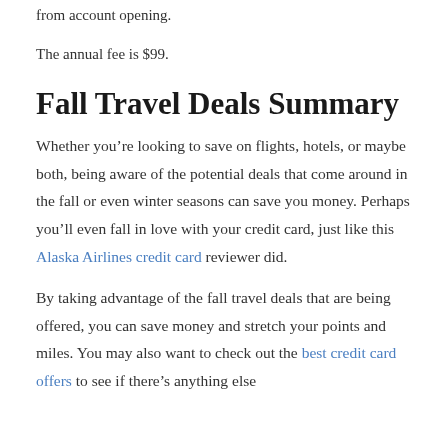from account opening.
The annual fee is $99.
Fall Travel Deals Summary
Whether you're looking to save on flights, hotels, or maybe both, being aware of the potential deals that come around in the fall or even winter seasons can save you money. Perhaps you'll even fall in love with your credit card, just like this Alaska Airlines credit card reviewer did.
By taking advantage of the fall travel deals that are being offered, you can save money and stretch your points and miles. You may also want to check out the best credit card offers to see if there's anything else